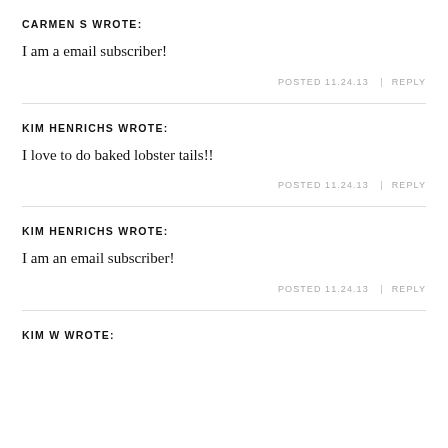CARMEN S WROTE:
I am a email subscriber!
POSTED 11.24.13  |  REPLY
KIM HENRICHS WROTE:
I love to do baked lobster tails!!
POSTED 11.24.13  |  REPLY
KIM HENRICHS WROTE:
I am an email subscriber!
POSTED 11.24.13  |  REPLY
KIM W WROTE: